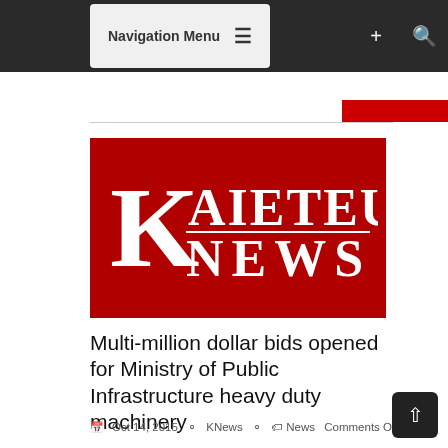Navigation Menu
[Figure (logo): Kaieteur News logo — white letter K and text KAIETEUR NEWS on a dark red background]
Multi-million dollar bids opened for Ministry of Public Infrastructure heavy duty machinery
Oct 14, 2015  KNews  News  Comments Off